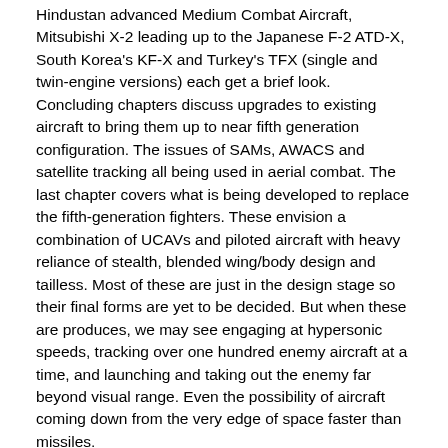Hindustan advanced Medium Combat Aircraft, Mitsubishi X-2 leading up to the Japanese F-2 ATD-X, South Korea's KF-X and Turkey's TFX (single and twin-engine versions) each get a brief look. Concluding chapters discuss upgrades to existing aircraft to bring them up to near fifth generation configuration. The issues of SAMs, AWACS and satellite tracking all being used in aerial combat. The last chapter covers what is being developed to replace the fifth-generation fighters. These envision a combination of UCAVs and piloted aircraft with heavy reliance of stealth, blended wing/body design and tailless. Most of these are just in the design stage so their final forms are yet to be decided. But when these are produces, we may see engaging at hypersonic speeds, tracking over one hundred enemy aircraft at a time, and launching and taking out the enemy far beyond visual range. Even the possibility of aircraft coming down from the very edge of space faster than missiles.
I recommend this book to anyone with an interest in modern aviation, aircraft and aircraft systems design as well as the modeler; all will find something of interest in these pages. This book presents a good opportunity to learn about the latest in aircraft technology as well as what is on the horizon. My thanks to Casemate for the review sample and to IPMS for the opportunity!